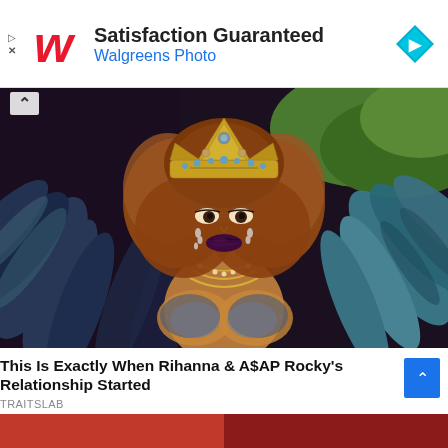[Figure (advertisement): Walgreens Photo advertisement banner with Walgreens logo (red W), text 'Satisfaction Guaranteed' and 'Walgreens Photo' in blue, and a teal diamond navigation icon on the right. Play and close icons on the left edge.]
[Figure (photo): Photo of a woman (Rihanna) in elaborate carnival costume with large teal/blue feathered wings, gold jeweled headdress, jeweled bra, and multiple necklaces, with curly auburn hair and dark lipstick. Green foliage visible in background. Back arrow chevron at top left.]
This Is Exactly When Rihanna & A$AP Rocky's Relationship Started
TRAITSLAB